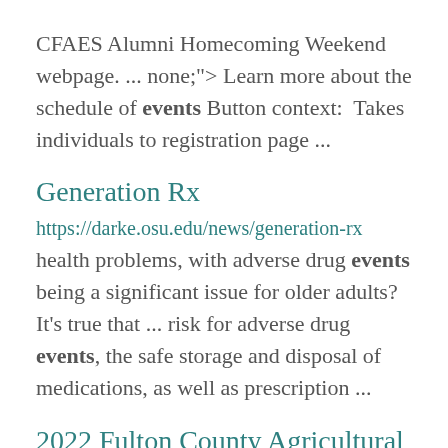CFAES Alumni Homecoming Weekend webpage. ... none;"> Learn more about the schedule of events Button context:  Takes individuals to registration page ...
Generation Rx
https://darke.osu.edu/news/generation-rx
health problems, with adverse drug events being a significant issue for older adults? It's true that ... risk for adverse drug events, the safe storage and disposal of medications, as well as prescription ...
2022 Fulton County Agricultural